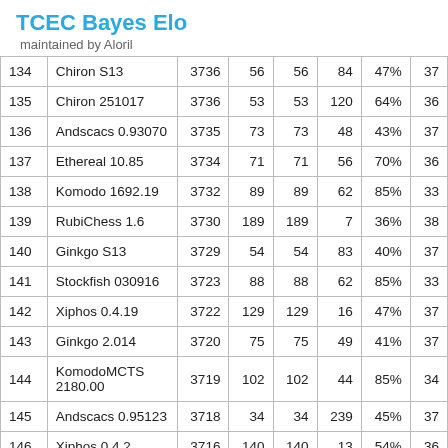TCEC Bayes Elo
maintained by Aloril
| # | Engine | Elo |  |  |  | % |  |
| --- | --- | --- | --- | --- | --- | --- | --- |
| 134 | Chiron S13 | 3736 | 56 | 56 | 84 | 47% | 37… |
| 135 | Chiron 251017 | 3736 | 53 | 53 | 120 | 64% | 36… |
| 136 | Andscacs 0.93070 | 3735 | 73 | 73 | 48 | 43% | 37… |
| 137 | Ethereal 10.85 | 3734 | 71 | 71 | 56 | 70% | 36… |
| 138 | Komodo 1692.19 | 3732 | 89 | 89 | 62 | 85% | 33… |
| 139 | RubiChess 1.6 | 3730 | 189 | 189 | 7 | 36% | 38… |
| 140 | Ginkgo S13 | 3729 | 54 | 54 | 83 | 40% | 37… |
| 141 | Stockfish 030916 | 3723 | 88 | 88 | 62 | 85% | 33… |
| 142 | Xiphos 0.4.19 | 3722 | 129 | 129 | 16 | 47% | 37… |
| 143 | Ginkgo 2.014 | 3720 | 75 | 75 | 49 | 41% | 37… |
| 144 | KomodoMCTS 2180.00 | 3719 | 102 | 102 | 44 | 85% | 34… |
| 145 | Andscacs 0.95123 | 3718 | 34 | 34 | 239 | 45% | 37… |
| 146 | Xiphos 0.4.2 | 3716 | 140 | 140 | 13 | 54% | 36… |